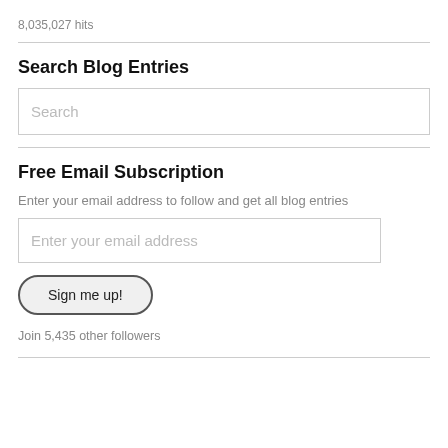8,035,027 hits
Search Blog Entries
Search
Free Email Subscription
Enter your email address to follow and get all blog entries
Enter your email address
Sign me up!
Join 5,435 other followers